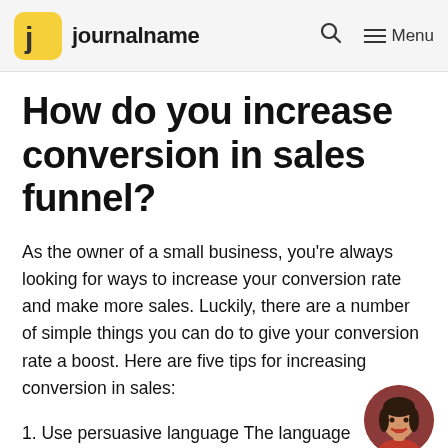journalname
How do you increase conversion in sales funnel?
As the owner of a small business, you’re always looking for ways to increase your conversion rate and make more sales. Luckily, there are a number of simple things you can do to give your conversion rate a boost. Here are five tips for increasing conversion in sales:
1. Use persuasive language The language
[Figure (photo): Circular avatar photo of a woman with dark hair and red lipstick, wearing a red top.]